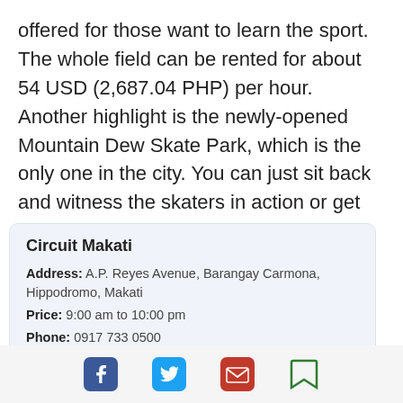offered for those want to learn the sport. The whole field can be rented for about 54 USD (2,687.04 PHP) per hour. Another highlight is the newly-opened Mountain Dew Skate Park, which is the only one in the city. You can just sit back and witness the skaters in action or get your board and show off your skills.
| Circuit Makati |
| Address: A.P. Reyes Avenue, Barangay Carmona, Hippodromo, Makati |
| Price: 9:00 am to 10:00 pm |
| Phone: 0917 733 0500 |
| Website: Circuit Maka… |
[Figure (other): Social sharing icons: Facebook, Twitter, Email, Bookmark, and an Explore Makati button]